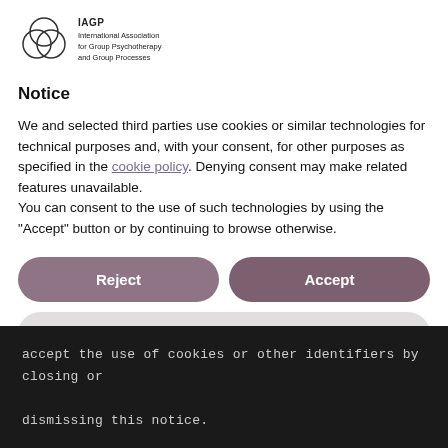[Figure (logo): IAGP logo with overlapping circles and text: IAGP International Association for Group Psychotherapy and Group Processes]
Notice
We and selected third parties use cookies or similar technologies for technical purposes and, with your consent, for other purposes as specified in the cookie policy. Denying consent may make related features unavailable.
You can consent to the use of such technologies by using the "Accept" button or by continuing to browse otherwise.
Reject
Accept
Learn more and customize
accept the use of cookies or other identifiers by closing or dismissing this notice.